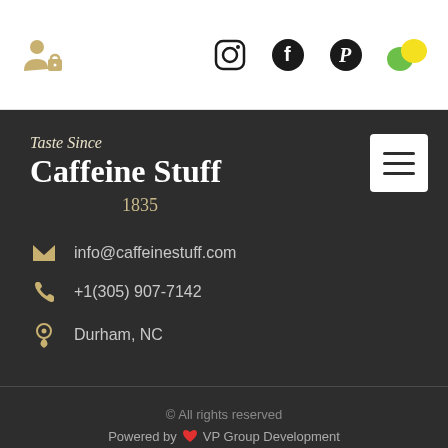[Figure (screenshot): Top navigation bar with user/lock icon on left and social media icons (Instagram, Facebook, Pinterest, and a green/yellow leaf icon) in the center]
Taste Since
Caffeine Stuff
1835
info@caffeinestuff.com
+1(305) 907-7142
Durham, NC
© All rights reserved
Powered by ❤ VP Group Development